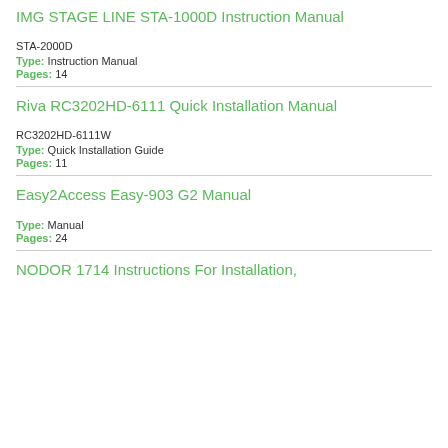IMG STAGE LINE STA-1000D Instruction Manual
STA-2000D
Type: Instruction Manual
Pages: 14
Riva RC3202HD-6111 Quick Installation Manual
RC3202HD-6111W
Type: Quick Installation Guide
Pages: 11
Easy2Access Easy-903 G2 Manual
Type: Manual
Pages: 24
NODOR 1714 Instructions For Installation,